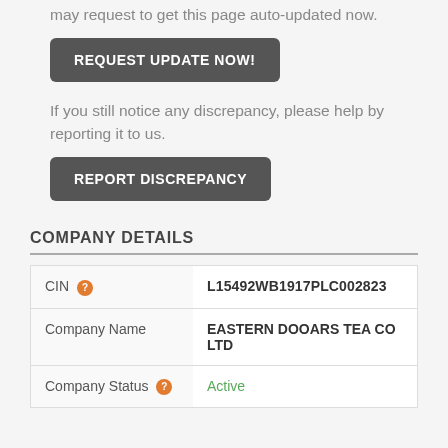may request to get this page auto-updated now.
REQUEST UPDATE NOW!
If you still notice any discrepancy, please help by reporting it to us.
REPORT DISCREPANCY
COMPANY DETAILS
| Field | Value |
| --- | --- |
| CIN | L15492WB1917PLC002823 |
| Company Name | EASTERN DOOARS TEA CO LTD |
| Company Status | Active |